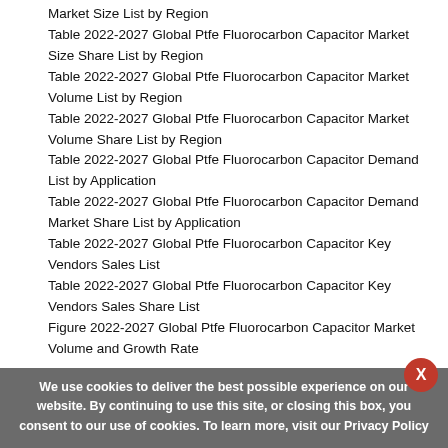Market Size List by Region
Table 2022-2027 Global Ptfe Fluorocarbon Capacitor Market Size Share List by Region
Table 2022-2027 Global Ptfe Fluorocarbon Capacitor Market Volume List by Region
Table 2022-2027 Global Ptfe Fluorocarbon Capacitor Market Volume Share List by Region
Table 2022-2027 Global Ptfe Fluorocarbon Capacitor Demand List by Application
Table 2022-2027 Global Ptfe Fluorocarbon Capacitor Demand Market Share List by Application
Table 2022-2027 Global Ptfe Fluorocarbon Capacitor Key Vendors Sales List
Table 2022-2027 Global Ptfe Fluorocarbon Capacitor Key Vendors Sales Share List
Figure 2022-2027 Global Ptfe Fluorocarbon Capacitor Market Volume and Growth Rate
Table 2022-2027 Global Ptfe Fluorocarbon Capacitor Key Vendors Revenue List
We use cookies to deliver the best possible experience on our website. By continuing to use this site, or closing this box, you consent to our use of cookies. To learn more, visit our Privacy Policy